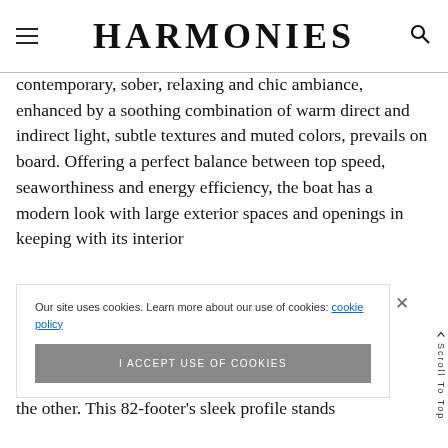HARMONIES
contemporary, sober, relaxing and chic ambiance, enhanced by a soothing combination of warm direct and indirect light, subtle textures and muted colors, prevails on board. Offering a perfect balance between top speed, seaworthiness and energy efficiency, the boat has a modern look with large exterior spaces and openings in keeping with its interior zu Yachts e volume, and ension of the other. This 82-footer's sleek profile stands
Our site uses cookies. Learn more about our use of cookies: cookie policy
I ACCEPT USE OF COOKIES